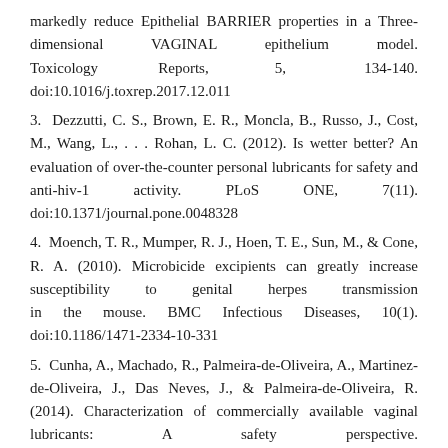markedly reduce Epithelial BARRIER properties in a Three-dimensional VAGINAL epithelium model. Toxicology Reports, 5, 134-140. doi:10.1016/j.toxrep.2017.12.011
3. Dezzutti, C. S., Brown, E. R., Moncla, B., Russo, J., Cost, M., Wang, L., . . . Rohan, L. C. (2012). Is wetter better? An evaluation of over-the-counter personal lubricants for safety and anti-hiv-1 activity. PLoS ONE, 7(11). doi:10.1371/journal.pone.0048328
4. Moench, T. R., Mumper, R. J., Hoen, T. E., Sun, M., & Cone, R. A. (2010). Microbicide excipients can greatly increase susceptibility to genital herpes transmission in the mouse. BMC Infectious Diseases, 10(1). doi:10.1186/1471-2334-10-331
5. Cunha, A., Machado, R., Palmeira-de-Oliveira, A., Martinez-de-Oliveira, J., Das Neves, J., & Palmeira-de-Oliveira, R. (2014). Characterization of commercially available vaginal lubricants: A safety perspective. Pharmaceutics, 6(3), 530-542.